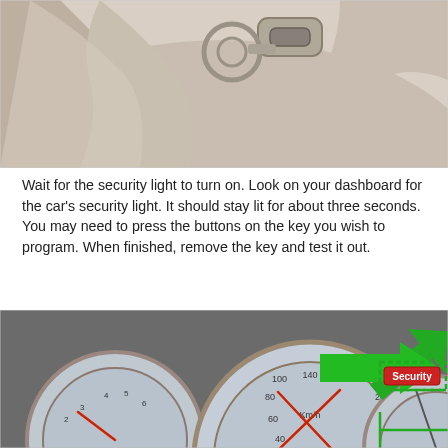[Figure (illustration): Illustrated close-up view of a car ignition switch with a key inserted, labeled 'IGNITION' in the upper right corner. The image shows a stylized hand near the ignition cylinder in beige/tan tones.]
Wait for the security light to turn on. Look on your dashboard for the car's security light. It should stay lit for about three seconds. You may need to press the buttons on the key you wish to program. When finished, remove the key and test it out.
[Figure (illustration): Illustrated car dashboard showing speedometer gauges with Km/h markings (40, 60, 80, 100, 120, 140, 160, 180, 200, 220). A large green arrow points to a dashed green rectangle highlighting a 'Security' label indicator on the dashboard.]